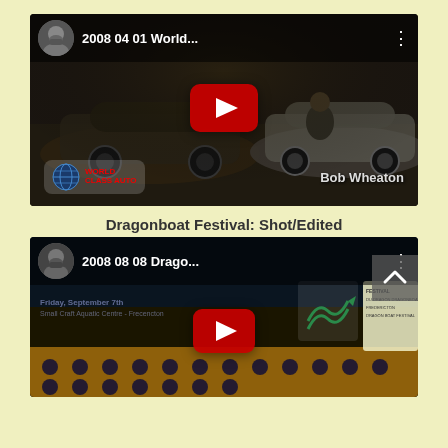[Figure (screenshot): YouTube video thumbnail for '2008 04 01 World...' showing a car dealership scene with Bob Wheaton watermark and WorldClassAuto logo]
Dragonboat Festival: Shot/Edited
[Figure (screenshot): YouTube video thumbnail for '2008 08 08 Drago...' showing a dragonboat festival scene with a scroll-up button visible]